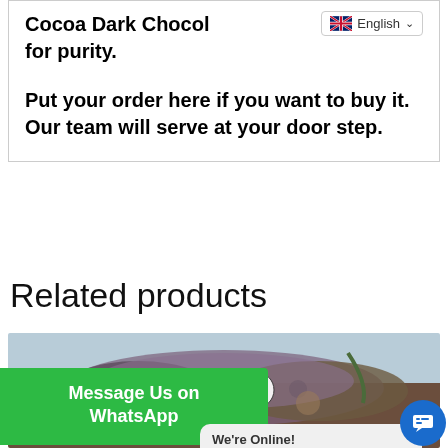Cocoa Dark Chocolate for purity.

Put your order here if you want to buy it. Our team will serve at your door step.
Related products
[Figure (photo): Close-up photo of purple/green cannabis buds filling a product carousel slot]
Message Us on WhatsApp
We're Online!
How may I help you tod...